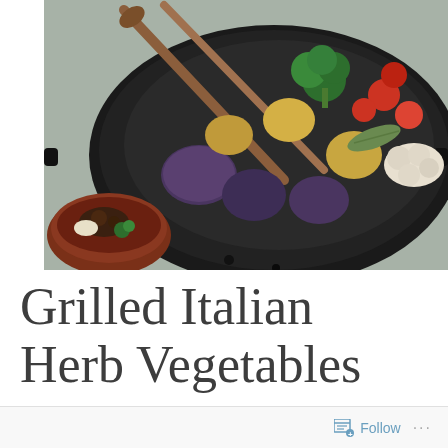[Figure (photo): A dark wok/pan containing grilled vegetables including broccoli, cherry tomatoes, purple potatoes, cauliflower, and a sage leaf, with wooden chopsticks/spoons. A small brown bowl with food is visible in the lower left corner.]
Grilled Italian Herb Vegetables
Follow ...